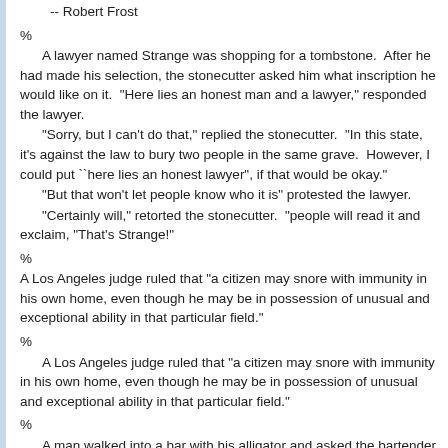-- Robert Frost
%
A lawyer named Strange was shopping for a tombstone.  After he had made his selection, the stonecutter asked him what inscription he would like on it.  "Here lies an honest man and a lawyer," responded the lawyer.
"Sorry, but I can't do that," replied the stonecutter.  "In this state, it's against the law to bury two people in the same grave.  However, I could put ``here lies an honest lawyer", if that would be okay."
"But that won't let people know who it is" protested the lawyer.
"Certainly will," retorted the stonecutter.  "people will read it and exclaim, "That's Strange!"
%
A Los Angeles judge ruled that "a citizen may snore with immunity in his own home, even though he may be in possession of unusual and exceptional ability in that particular field."
%
A Los Angeles judge ruled that "a citizen may snore with immunity in his own home, even though he may be in possession of unusual and exceptional ability in that particular field."
%
A man walked into a bar with his alligator and asked the bartender, "Do you serve lawyers here?".